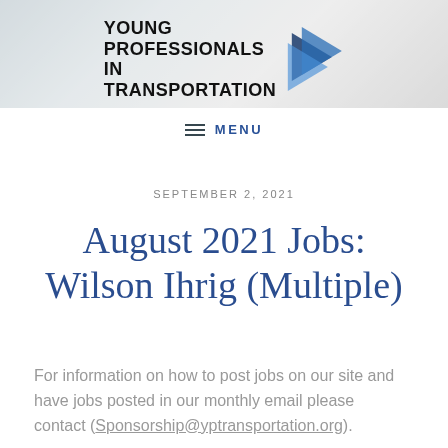[Figure (logo): Young Professionals in Transportation logo with wordmark text and blue arrow icon, over a highway background photo]
≡  MENU
SEPTEMBER 2, 2021
August 2021 Jobs: Wilson Ihrig (Multiple)
For information on how to post jobs on our site and have jobs posted in our monthly email please contact (Sponsorship@yptransportation.org).